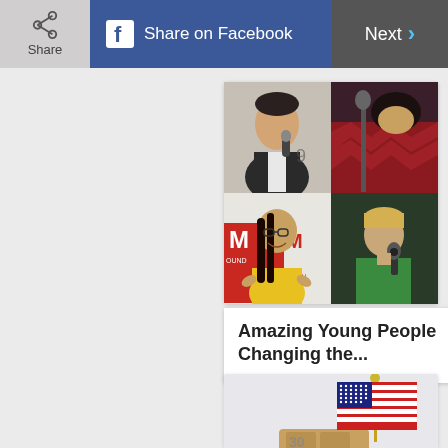Share | Share on Facebook | Next
[Figure (photo): Collage of four photos of young people: top-left shows a person in a vest holding a mic, top-right shows a person in red near a mic, bottom-left shows a smiling girl in yellow shirt at Ms. Foundation event, bottom-right shows a boy in green shirt holding a microphone.]
Amazing Young People Changing the...
[Figure (photo): An American flag on a wooden base, against a light gray background, partially cut off at the bottom.]